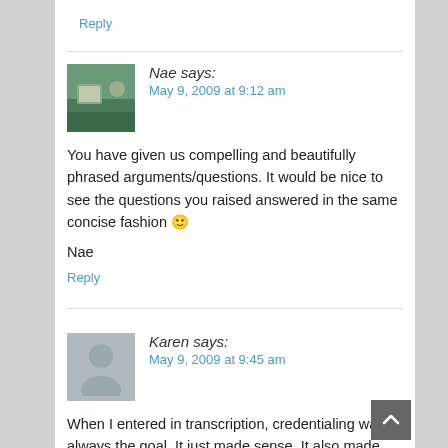Reply
Nae says:
May 9, 2009 at 9:12 am
You have given us compelling and beautifully phrased arguments/questions. It would be nice to see the questions you raised answered in the same concise fashion 🙂
Nae
Reply
Karen says:
May 9, 2009 at 9:45 am
When I entered in transcription, credentialing was always the goal. It just made sense. It also made sense that the credential from the industry held